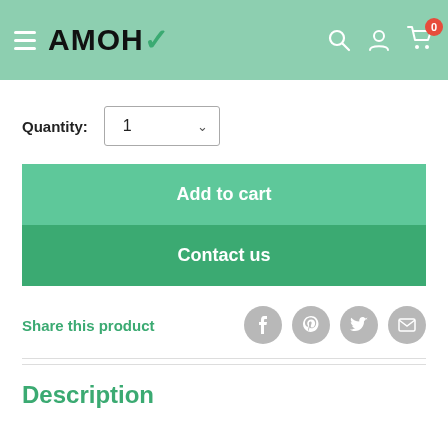AMOHE
Quantity: 1
Add to cart
Contact us
Share this product
Description